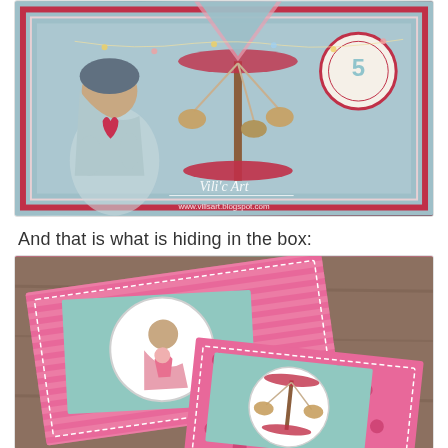[Figure (photo): Handmade birthday card featuring a cartoon girl character with a carousel/merry-go-round, decorated with red and teal colors. Watermark reads 'Vili's Art' and 'www.vilisart.blogspot.com']
And that is what is hiding in the box:
[Figure (photo): Two handmade cards with pink striped and polka dot backgrounds, featuring cartoon character illustrations in teal/aqua oval frames, placed on a wooden surface]